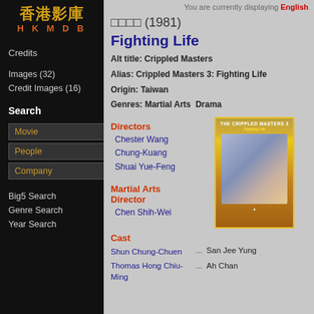[Figure (logo): HKMDB logo with Chinese characters 香港影庫 and HKMDB text]
Credits
Images (32)
Credit Images (16)
Search
Movie
People
Company
Big5 Search
Genre Search
Year Search
You are currently displaying English
□□□□ (1981)
Fighting Life
Alt title: Crippled Masters
Alias: Crippled Masters 3: Fighting Life
Origin: Taiwan
Genres: Martial Arts  Drama
Directors
Chester Wang
Chung-Kuang
Shuai Yue-Feng
[Figure (photo): Movie poster for The Crippled Masters 3: Fighting Life with yellow border]
Martial Arts Director
Chen Shih-Wei
Cast
Shun Chung-Chuen ... San Jee Yung
Thomas Hong Chiu-Ming ... Ah Chan